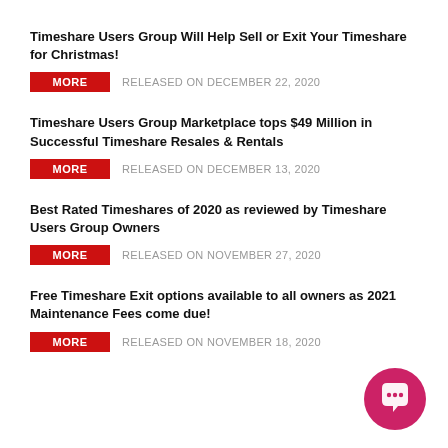Timeshare Users Group Will Help Sell or Exit Your Timeshare for Christmas!
MORE   RELEASED ON DECEMBER 22, 2020
Timeshare Users Group Marketplace tops $49 Million in Successful Timeshare Resales & Rentals
MORE   RELEASED ON DECEMBER 13, 2020
Best Rated Timeshares of 2020 as reviewed by Timeshare Users Group Owners
MORE   RELEASED ON NOVEMBER 27, 2020
Free Timeshare Exit options available to all owners as 2021 Maintenance Fees come due!
MORE   RELEASED ON NOVEMBER 18, 2020
[Figure (illustration): Pink chat bubble icon in bottom-right corner]